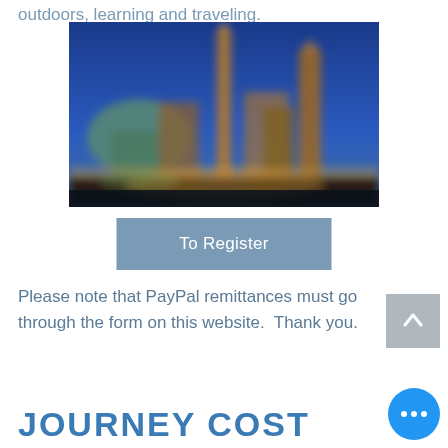outdoors, learning and traveling.
[Figure (photo): Blurry nighttime cityscape with blue sky, illuminated church spires and domed buildings]
To Register
Please note that PayPal remittances must go through the form on this website.  Thank you.
JOURNEY COST